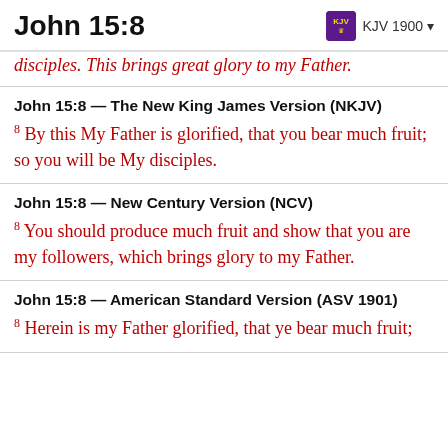John 15:8  KJV 1900
disciples. This brings great glory to my Father.
John 15:8 — The New King James Version (NKJV)
8 By this My Father is glorified, that you bear much fruit; so you will be My disciples.
John 15:8 — New Century Version (NCV)
8 You should produce much fruit and show that you are my followers, which brings glory to my Father.
John 15:8 — American Standard Version (ASV 1901)
8 Herein is my Father glorified, that ye bear much fruit;